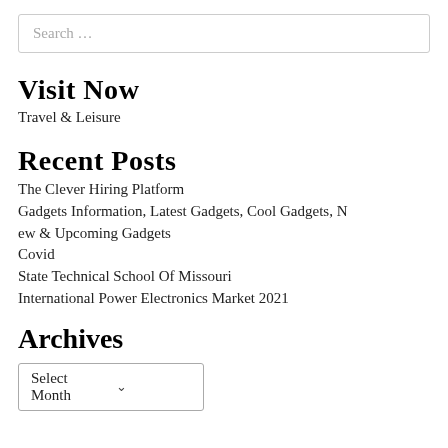Search …
Visit Now
Travel & Leisure
Recent Posts
The Clever Hiring Platform
Gadgets Information, Latest Gadgets, Cool Gadgets, New & Upcoming Gadgets
Covid
State Technical School Of Missouri
International Power Electronics Market 2021
Archives
Select Month